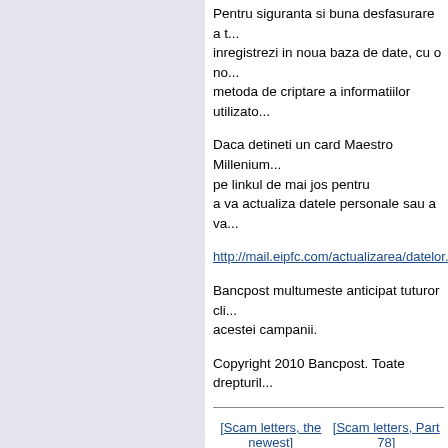Pentru siguranta si buna desfasurare a t... inregistrezi in noua baza de date, cu o no... metoda de criptare a informatiilor utilizato...
Daca detineti un card Maestro Millenium... pe linkul de mai jos pentru a va actualiza datele personale sau a va...
http://mail.eipfc.com/actualizarea/datelor...
Bancpost multumeste anticipat tuturor cli... acestei campanii.
Copyright 2010 Bancpost. Toate drepturile...
[Scam letters, the newest]
[Scam letters, Part 78]
[Scam letters, Part 105]
[Scam letters, Part 77]
[Scam letters, Part 104]
[Scam letters, Part 76]
[Scam letters, Part 103]
[Scam letters, Part 75]
[Scam letters, Part 102]
[Scam letters, Part 74]
[Scam letters, Part 101]
[Scam letters, Part 73]
[Scam letters, Part 100]
[Scam letters, Part 72]
[Scam letters, Part...
[Scam letters,...